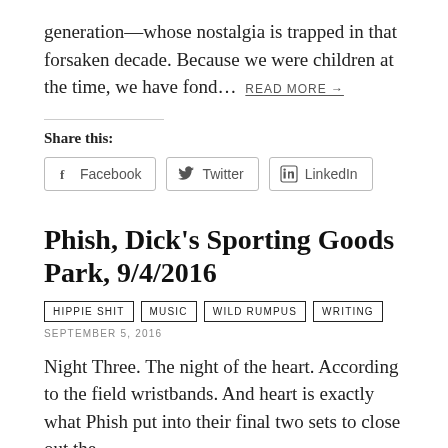generation—whose nostalgia is trapped in that forsaken decade. Because we were children at the time, we have fond… READ MORE →
Share this:
[Figure (other): Social share buttons for Facebook, Twitter, and LinkedIn]
Phish, Dick's Sporting Goods Park, 9/4/2016
HIPPIE SHIT   MUSIC   WILD RUMPUS   WRITING
SEPTEMBER 5, 2016
Night Three. The night of the heart. According to the field wristbands. And heart is exactly what Phish put into their final two sets to close out the